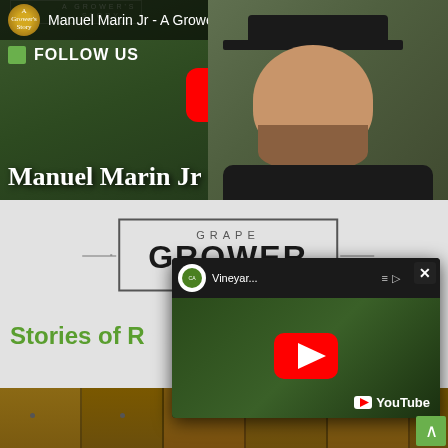[Figure (screenshot): YouTube video thumbnail showing Manuel Marin Jr - A Grower's Story with video overlay bar, Follow Us text, red YouTube play button, and portrait of a man in dark cap]
Manuel Marin Jr
[Figure (logo): Grape Grower .org logo in a bordered box with horizontal lines on each side]
Stories of R...s
[Figure (screenshot): Embedded YouTube popup video showing California agriculture channel with Vineyard... title, red play button, and YouTube branding]
[Figure (photo): Wooden fence planks at bottom of page]